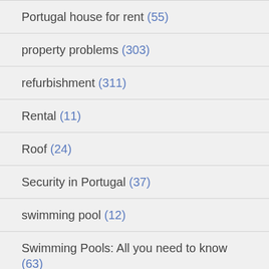Portugal house for rent (55)
property problems (303)
refurbishment (311)
Rental (11)
Roof (24)
Security in Portugal (37)
swimming pool (12)
Swimming Pools: All you need to know (63)